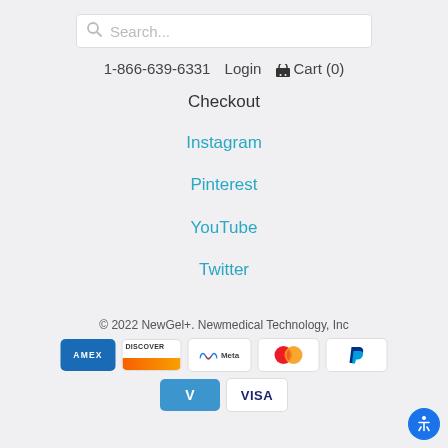Search...
1-866-639-6331  Login  Cart (0)
Checkout
Instagram
Pinterest
YouTube
Twitter
© 2022 NewGel+. Newmedical Technology, Inc
[Figure (other): Payment method logos: American Express, Discover, Meta, Mastercard, PayPal, Venmo, Visa]